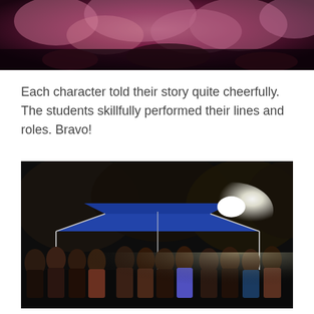[Figure (photo): Top portion of a nighttime outdoor photo showing pink/purple flowering trees or fireworks against a dark sky]
Each character told their story quite cheerfully. The students skillfully performed their lines and roles. Bravo!
[Figure (photo): Nighttime outdoor photo of a group of students standing under a blue pop-up canopy tent with a bright light, with dark trees in the background]